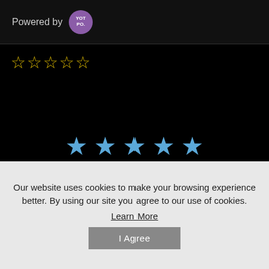Powered by YOTPO
[Figure (other): Five empty yellow star rating icons]
[Figure (other): Five filled blue star rating icons]
BE THE FIRST TO WRITE A REVIEW
Our website uses cookies to make your browsing experience better. By using our site you agree to our use of cookies.
Learn More
I Agree